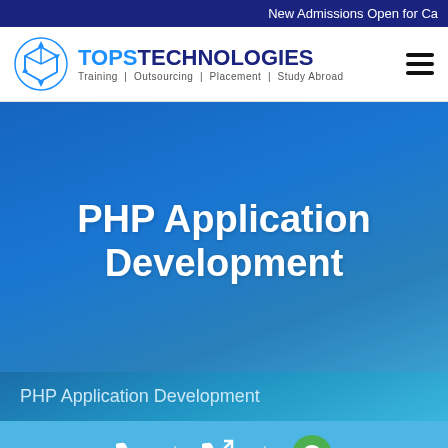New Admissions Open for Ca
[Figure (logo): TOPS Technologies logo with cube icon, tagline: Training | Outsourcing | Placement | Study Abroad]
PHP Application Development
PHP Application Development
Phone icon | Callback icon | WhatsApp icon